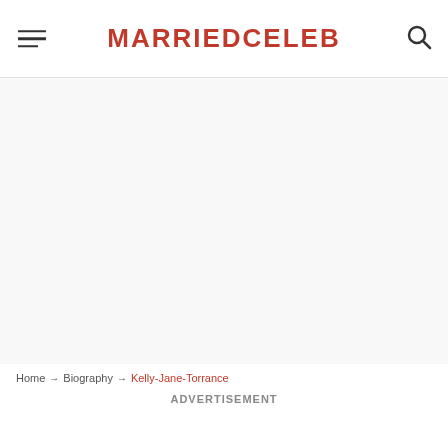MARRIEDCELEB
Home → Biography → Kelly-Jane-Torrance
ADVERTISEMENT